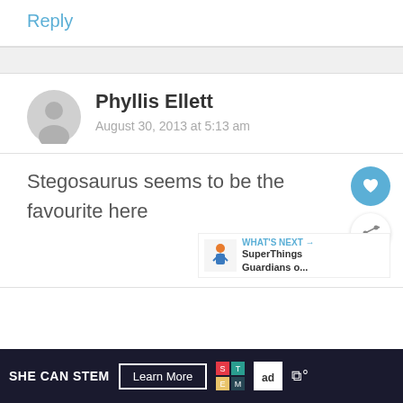Reply
Phyllis Ellett
August 30, 2013 at 5:13 am
Stegosaurus seems to be the favourite here
[Figure (infographic): What's Next widget with SuperThings Guardians o... thumbnail and label]
SHE CAN STEM  Learn More